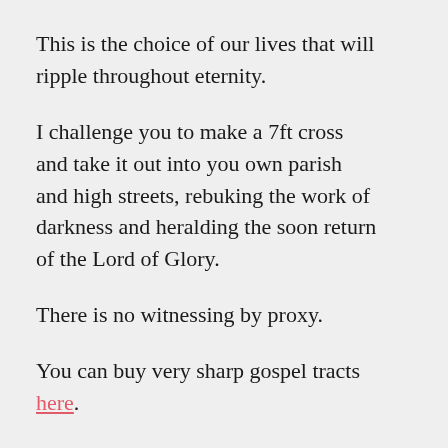This is the choice of our lives that will ripple throughout eternity.
I challenge you to make a 7ft cross and take it out into you own parish and high streets, rebuking the work of darkness and heralding the soon return of the Lord of Glory.
There is no witnessing by proxy.
You can buy very sharp gospel tracts here.
Related video re false gospels here.
Maranatha/love
NPF